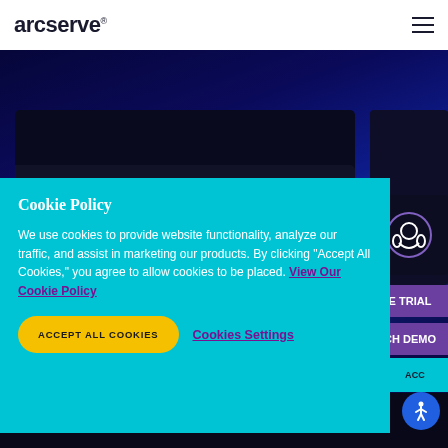arcserve®
[Figure (screenshot): Dark blue hero background with dark device/folder shapes visible behind the cookie popup]
Cookie Policy
We use cookies to provide website functionality, analyze our traffic, and assist in marketing our products. By clicking "Accept All Cookies," you agree to allow cookies to be placed. View Our Cookie Policy
ACCEPT ALL COOKIES
Cookies Settings